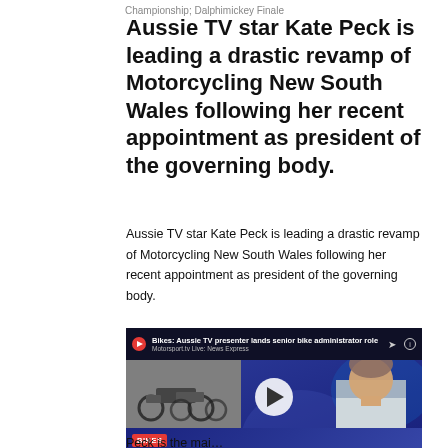Championship; Dalphimickey Finale
Aussie TV star Kate Peck is leading a drastic revamp of Motorcycling New South Wales following her recent appointment as president of the governing body.
Aussie TV star Kate Peck is leading a drastic revamp of Motorcycling New South Wales following her recent appointment as president of the governing body.
[Figure (screenshot): Video thumbnail from Motorsport.tv Live News Express showing a news presenter with text overlay reading 'AUSSIE TV PRESENTER LANDS SENIOR BIKE ADMINISTRATOR ROLE' and a BIKES tag and LIVE badge]
Peck is the mai...